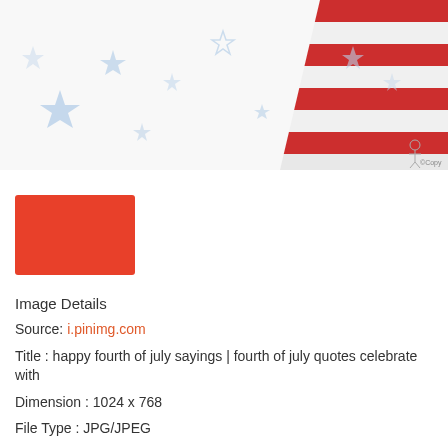[Figure (illustration): Patriotic American flag image with red and white stripes in upper right, and light blue stars scattered on white background. Small copyright notice '©Copy' visible in lower right of image area.]
[Figure (other): Solid red/orange-red rectangle serving as image placeholder thumbnail.]
Image Details
Source: i.pinimg.com
Title : happy fourth of july sayings | fourth of july quotes celebrate with
Dimension : 1024 x 768
File Type : JPG/JPEG